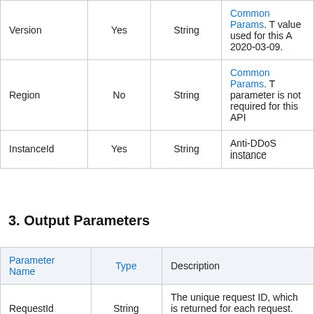| Parameter Name | Required | Type | Description |
| --- | --- | --- | --- |
| Version | Yes | String | Common Params. T value used for this A 2020-03-09. |
| Region | No | String | Common Params. T parameter is not required for this API |
| InstanceId | Yes | String | Anti-DDoS instance |
3. Output Parameters
| Parameter Name | Type | Description |
| --- | --- | --- |
| RequestId | String | The unique request ID, which is returned for each request. RequestId is required for... |